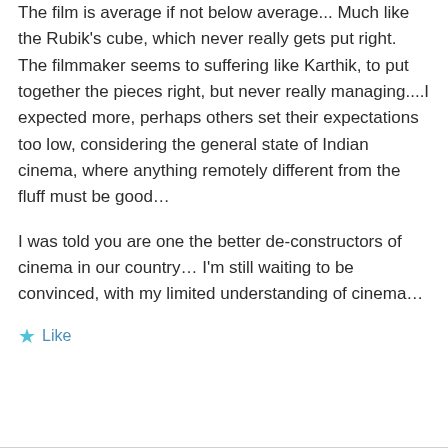The film is average if not below average... Much like the Rubik's cube, which never really gets put right. The filmmaker seems to suffering like Karthik, to put together the pieces right, but never really managing....I expected more, perhaps others set their expectations too low, considering the general state of Indian cinema, where anything remotely different from the fluff must be good...
I was told you are one the better de-constructors of cinema in our country... I'm still waiting to be convinced, with my limited understanding of cinema...
★ Like